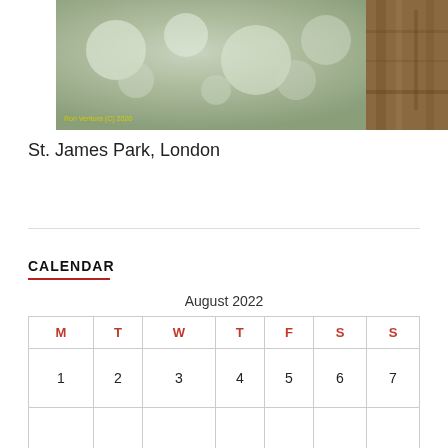[Figure (photo): Nature/wildlife photo taken at St. James Park, London, with blurred green background and tree bark on right side. Photo credit: Ron Ventura (C) 2020]
St. James Park, London
CALENDAR
| M | T | W | T | F | S | S |
| --- | --- | --- | --- | --- | --- | --- |
| 1 | 2 | 3 | 4 | 5 | 6 | 7 |
|  |  |  |  |  |  |  |